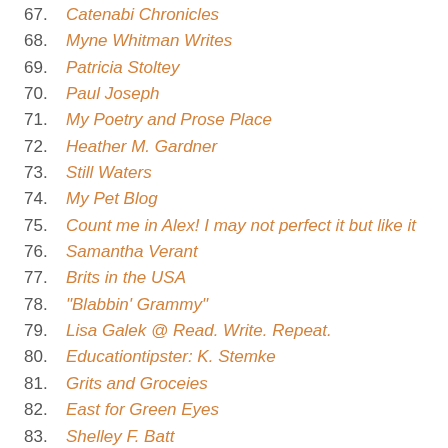67. Catenabi Chronicles
68. Myne Whitman Writes
69. Patricia Stoltey
70. Paul Joseph
71. My Poetry and Prose Place
72. Heather M. Gardner
73. Still Waters
74. My Pet Blog
75. Count me in Alex! I may not perfect it but like it
76. Samantha Verant
77. Brits in the USA
78. "Blabbin' Grammy"
79. Lisa Galek @ Read. Write. Repeat.
80. Educationtipster: K. Stemke
81. Grits and Groceies
82. East for Green Eyes
83. Shelley F. Batt
84. Ric's Reviews
85. Junobug's Musings